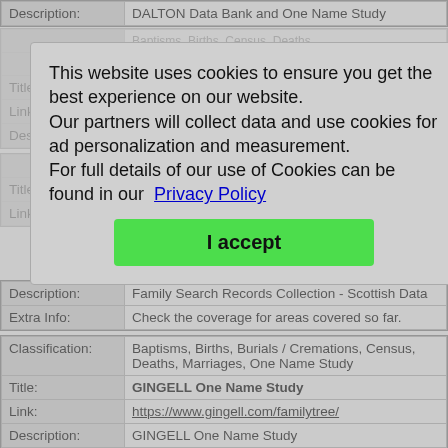| Field | Value |
| --- | --- |
| Description: | DALTON Data Bank and One Name Study |
This website uses cookies to ensure you get the best experience on our website. Our partners will collect data and use cookies for ad personalization and measurement. For full details of our use of Cookies can be found in our Privacy Policy
I accept
| Field | Value |
| --- | --- |
| Description: | Family Search Records Collection - Scottish Data |
| Extra Info: | Check the coverage for areas covered so far. |
| Field | Value |
| --- | --- |
| Classification: | Baptisms, Births, Burials / Cremations, Census, Deaths, Marriages, One Name Study |
| Title: | GINGELL One Name Study |
| Link: | https://www.gingell.com/familytree/ |
| Description: | GINGELL One Name Study |